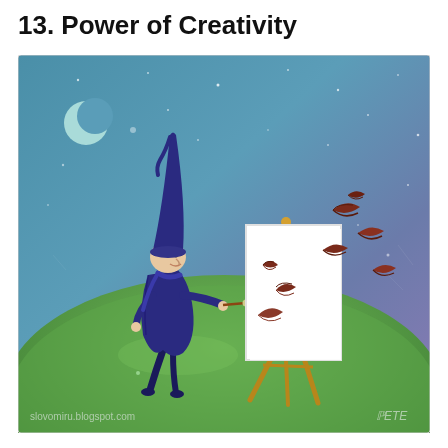13. Power of Creativity
[Figure (illustration): Whimsical illustration of a small figure wearing a tall dark blue pointed hat and long blue coat, standing on top of a round green hill at night. The figure holds a paintbrush and paints birds on a white canvas mounted on a wooden easel. Several dark brown/reddish birds are flying off the canvas into the teal and purple night sky. A crescent moon and stars are visible in the upper left. Watermark text reads 'slovomiru.blogspot.com' in lower left and 'PETE' signature in lower right.]